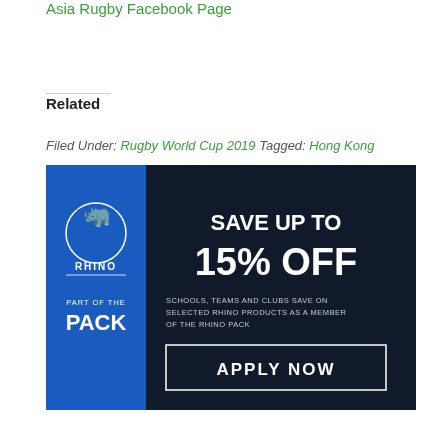Asia Rugby Facebook Page
Related
Filed Under: Rugby World Cup 2019 Tagged: Hong Kong
[Figure (other): Rhino rugby advertisement banner: Save up to 15% off. Schools, teams and clubs save on selected Rhino products as a member of the Rhino Pack. Apply Now button. Blue sidebar with Rhino logo and 'Part of the Pack' text.]